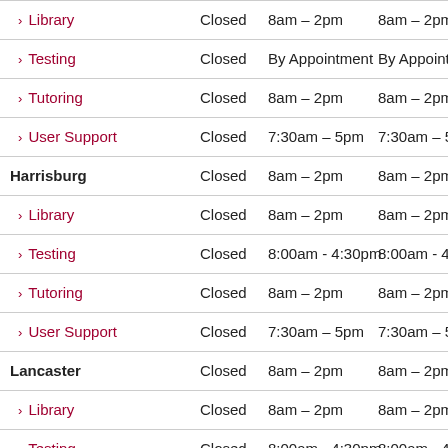| Location | Sunday | Monday | Tuesday | Wed... |
| --- | --- | --- | --- | --- |
| > Library | Closed | 8am – 2pm | 8am – 2pm | 8 |
| > Testing | Closed | By Appointment | By Appointment | B |
| > Tutoring | Closed | 8am – 2pm | 8am – 2pm | 8 |
| > User Support | Closed | 7:30am – 5pm | 7:30am – 5pm | 7 |
| Harrisburg | Closed | 8am – 2pm | 8am – 2pm | 8 |
| > Library | Closed | 8am – 2pm | 8am – 2pm | 8 |
| > Testing | Closed | 8:00am - 4:30pm | 8:00am - 4:30pm | 8 |
| > Tutoring | Closed | 8am – 2pm | 8am – 2pm | 8 |
| > User Support | Closed | 7:30am – 5pm | 7:30am – 5pm | 7 |
| Lancaster | Closed | 8am – 2pm | 8am – 2pm | 8 |
| > Library | Closed | 8am – 2pm | 8am – 2pm | 8 |
| > Testing | Closed | 8:00am - 4:30pm | 8:00am - 4:30pm | 8 |
| > Tutoring | Closed | 8am – 2pm | 8am – 2pm | 8 |
| > User Support | Closed | 7:30am – 5pm | 7:30am – 5pm | 7 |